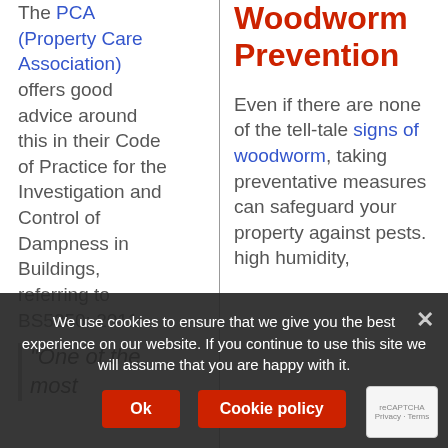The PCA (Property Care Association) offers good advice around this in their Code of Practice for the Investigation and Control of Dampness in Buildings, referring to BS5250: 2011
Woodworm Prevention
Even if there are none of the tell-tale signs of woodworm, taking preventative measures can safeguard your property against pests. high humidity,
"One of the most
We use cookies to ensure that we give you the best experience on our website. If you continue to use this site we will assume that you are happy with it.